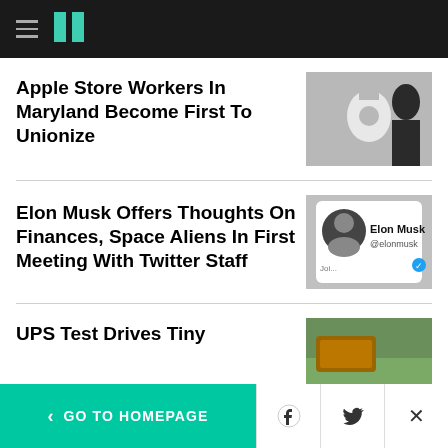HuffPost navigation header
Apple Store Workers In Maryland Become First To Unionize
[Figure (photo): Apple logo illuminated sign with silhouette of person]
Elon Musk Offers Thoughts On Finances, Space Aliens In First Meeting With Twitter Staff
[Figure (photo): Elon Musk Twitter profile card showing @elonmusk with verified badge]
UPS Test Drives Tiny
[Figure (photo): UPS related outdoor scene with greenery]
< GO TO HOMEPAGE